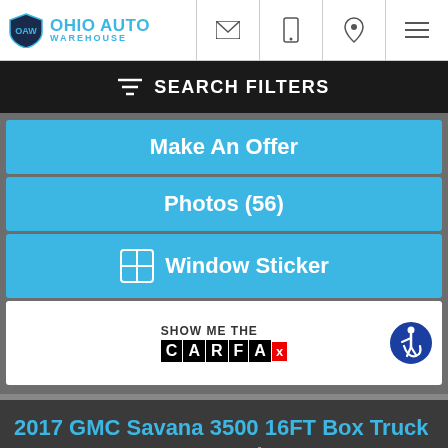Ohio Auto Warehouse
SEARCH FILTERS
Make An Offer
Photos (56)
Window Sticker
[Figure (logo): Show Me The CARFAX logo with accessibility badge]
2017 GMC Savana 3500 16FT Box Truck 1 Ton V8 1-Owner We Finance
Today's Price $29,000
Exterior: Wheatland Yellow